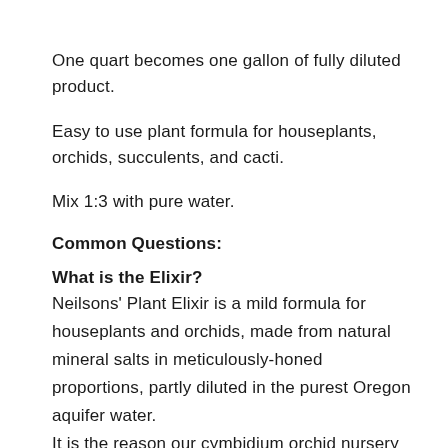One quart becomes one gallon of fully diluted product.
Easy to use plant formula for houseplants, orchids, succulents, and cacti.
Mix 1:3 with pure water.
Common Questions:
What is the Elixir?
Neilsons' Plant Elixir is a mild formula for houseplants and orchids, made from natural mineral salts in meticulously-honed proportions, partly diluted in the purest Oregon aquifer water.
It is the reason our cymbidium orchid nursery became